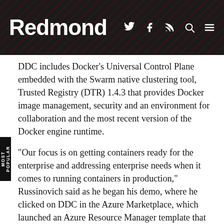Redmond
DDC includes Docker's Universal Control Plane embedded with the Swarm native clustering tool, Trusted Registry (DTR) 1.4.3 that provides Docker image management, security and an environment for collaboration and the most recent version of the Docker engine runtime.
"Our focus is on getting containers ready for the enterprise and addressing enterprise needs when it comes to running containers in production," Russinovich said as he began his demo, where he clicked on DDC in the Azure Marketplace, which launched an Azure Resource Manager template that initiated a form-filled process. "Within a few minutes, I can get a highly available first class Docker Datacenter cluster up and running up in Azure," he said.